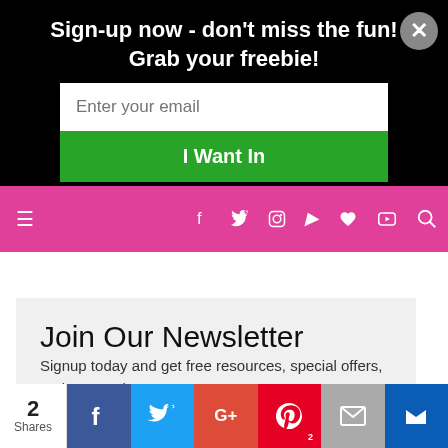Sign-up now - don't miss the fun! Grab your freebie!
Enter your email
I Want In
[Figure (screenshot): Pink navigation bar with hamburger menu icon on left and social media icons (facebook, twitter, instagram, pinterest, heart, youtube) and search icon on right]
Join Our Newsletter
Signup today and get free resources, special offers, and new updates!
READ PREVIOUS POST:
SMART TIPS FOR SETTING UP POWERFUL GOA
2 Shares